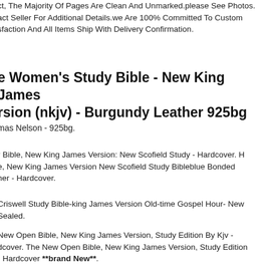ct, The Majority Of Pages Are Clean And Unmarked.please See Photos. act Seller For Additional Details.we Are 100% Committed To Customer sfaction And All Items Ship With Delivery Confirmation.
e Women's Study Bible - New King James rsion (nkjv) - Burgundy Leather 925bg
mas Nelson - 925bg.
r Bible, New King James Version: New Scofield Study - Hardcover. He, New King James Version New Scofield Study Bibleblue Bonded her - Hardcover.
Criswell Study Bible-king James Version Old-time Gospel Hour- New Sealed.
New Open Bible, New King James Version, Study Edition By Kjv - dcover. The New Open Bible, New King James Version, Study Edition - Hardcover **brand New**.